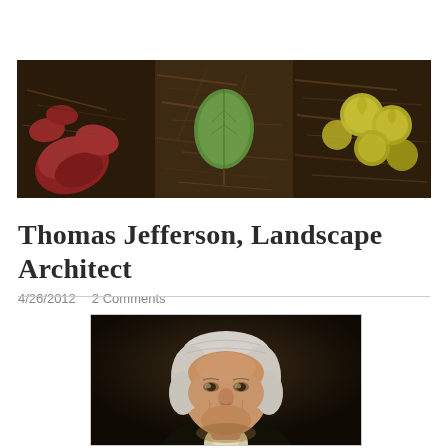[Figure (photo): Blog header image showing leaves on dark mulch/soil background. Left section shows red/pink leaves, center shows a single green leaf on brown mulch, right section shows yellow/green circular leaves. Panoramic banner image.]
Thomas Jefferson, Landscape Architect
4/26/2012   2 Comments
[Figure (photo): Classical painted portrait of Thomas Jefferson showing his face and upper body against a dark background, with white/gray powdered hair, wearing period clothing.]